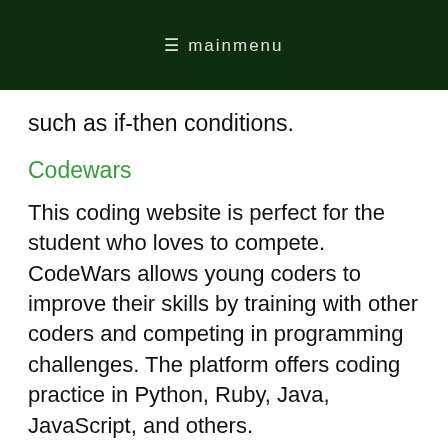≡ mainmenu
such as if-then conditions.
Codewars
This coding website is perfect for the student who loves to compete. CodeWars allows young coders to improve their skills by training with other coders and competing in programming challenges. The platform offers coding practice in Python, Ruby, Java, JavaScript, and others.
Take Python Programming to the